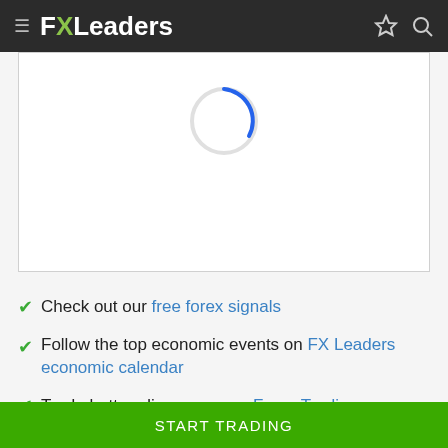FXLeaders
[Figure (other): Loading spinner arc — partial blue circle arc on white background, indicating content loading]
Check out our free forex signals
Follow the top economic events on FX Leaders economic calendar
Trade better, discover more Forex Trading
START TRADING